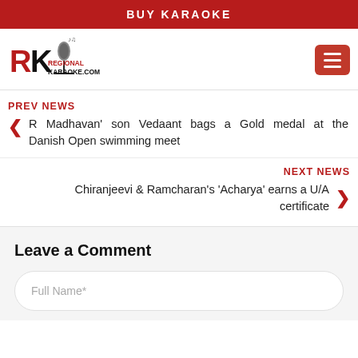BUY KARAOKE
[Figure (logo): RegionalKaraoke.com logo with microphone graphic and RK letters in red and black]
PREV NEWS
R Madhavan' son Vedaant bags a Gold medal at the Danish Open swimming meet
NEXT NEWS
Chiranjeevi & Ramcharan's 'Acharya' earns a U/A certificate
Leave a Comment
Full Name*